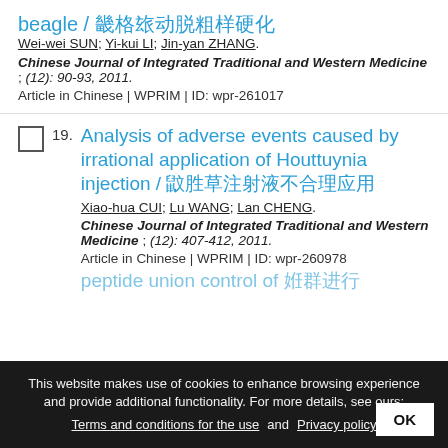beagle / 比格犬动脉粥样硬化
Wei-wei SUN; Yi-kui LI; Jin-yan ZHANG.
Chinese Journal of Integrated Traditional and Western Medicine ; (12): 90-93, 2011.
Article in Chinese | WPRIM | ID: wpr-261017
19. Analysis of adverse events caused by irrational application of Houttuynia injection / 鱼腥草注射液不合理应用
Xiao-hua CUI; Lu WANG; Lan CHENG.
Chinese Journal of Integrated Traditional and Western Medicine ; (12): 407-412, 2011.
Article in Chinese | WPRIM | ID: wpr-260978
This website makes use of cookies to enhance browsing experience and provide additional functionality. For more details, see ours: Terms and conditions for the use and Privacy policy